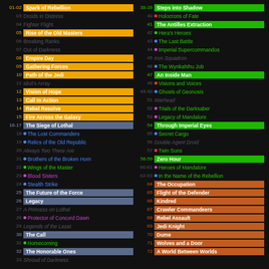01-02 Spark of Rebellion
03 Droids in Distress
04 Fighter Flight
05 Rise of the Old Masters
06 Breaking Ranks
07 Out of Darkness
08 Empire Day
09 Gathering Forces
10 Path of the Jedi
11 Idiot's Array
12 Vision of Hope
13 Call to Action
14 Rebel Resolve
15 Fire Across the Galaxy
16-17 The Siege of Lothal
18 The Lost Commanders
19 Relics of the Old Republic
20 Always Two There Are
21 Brothers of the Broken Horn
22 Wings of the Master
23 Blood Sisters
24 Stealth Strike
25 The Future of the Force
26 Legacy
27 A Princess on Lothal
28 Protector of Concord Dawn
29 Legends of the Lasat
30 The Call
31 Homecoming
32 The Honorable Ones
38-39 Steps into Shadow
40 Holocrons of Fate
41 The Antilles Extraction
42 Hera's Heroes
43 The Last Battle
44 Imperial Supercommandos
45 Iron Squadron
46 The Wynkahthu Job
47 An Inside Man
48 Visions and Voices
49-50 Ghosts of Geonosis
51 Warhead
52 Trials of the Darksaber
53 Legacy of Mandalore
54 Through Imperial Eyes
55 Secret Cargo
56 Double Agent Droid
57 Twin Suns
58-59 Zero Hour
60-61 Heroes of Mandalore
62-63 In the Name of the Rebellion
64 The Occupation
65 Flight of the Defender
66 Kindred
67 Crawler Commandeers
68 Rebel Assault
69 Jedi Knight
70 Dume
71 Wolves and a Door
72 A World Between Worlds